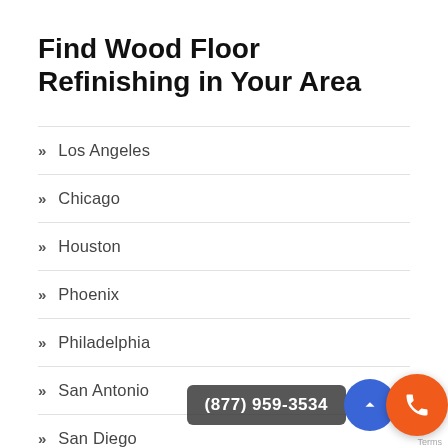Find Wood Floor Refinishing in Your Area
Los Angeles
Chicago
Houston
Phoenix
Philadelphia
San Antonio
San Diego